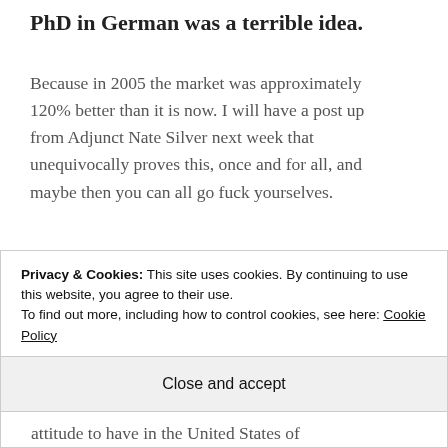PhD in German was a terrible idea.
Because in 2005 the market was approximately 120% better than it is now. I will have a post up from Adjunct Nate Silver next week that unequivocally proves this, once and for all, and maybe then you can all go fuck yourselves.
5. Literature is a dumb waste of time
Privacy & Cookies: This site uses cookies. By continuing to use this website, you agree to their use.
To find out more, including how to control cookies, see here: Cookie Policy
Close and accept
attitude to have in the United States of